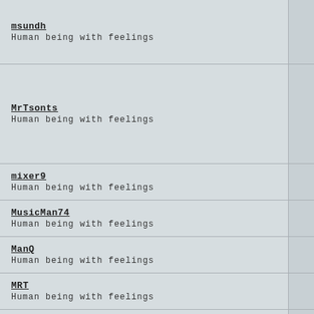msundh
Human being with feelings
MrTsonts
Human being with feelings
mixer9
Human being with feelings
MusicMan74
Human being with feelings
ManQ
Human being with feelings
MRT
Human being with feelings